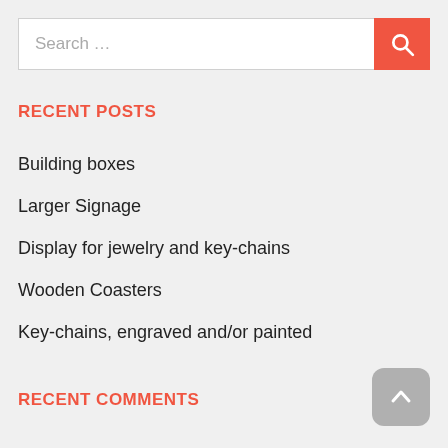Search …
RECENT POSTS
Building boxes
Larger Signage
Display for jewelry and key-chains
Wooden Coasters
Key-chains, engraved and/or painted
RECENT COMMENTS